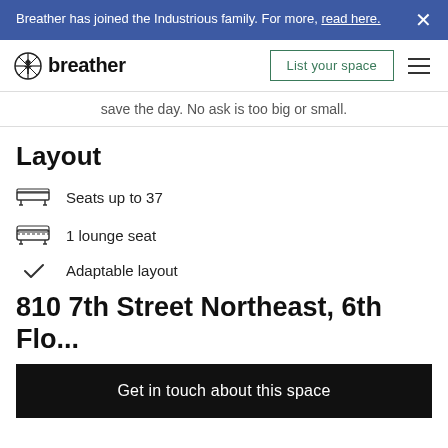Breather has joined the Industrious family. For more, read here.
[Figure (logo): Breather logo with tree/compass icon and wordmark 'breather']
save the day. No ask is too big or small.
Layout
Seats up to 37
1 lounge seat
Adaptable layout
810 7th Street Northeast, 6th Flo...
Get in touch about this space